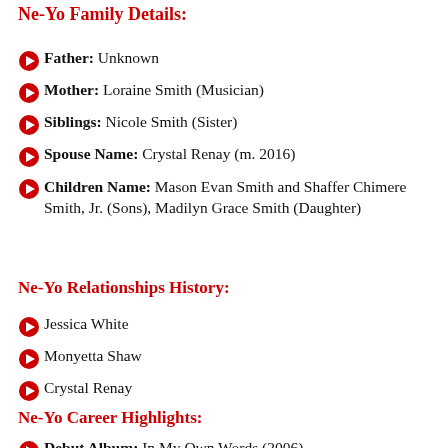Ne-Yo Family Details:
Father: Unknown
Mother: Loraine Smith (Musician)
Siblings: Nicole Smith (Sister)
Spouse Name: Crystal Renay (m. 2016)
Children Name: Mason Evan Smith and Shaffer Chimere Smith, Jr. (Sons), Madilyn Grace Smith (Daughter)
Ne-Yo Relationships History:
Jessica White
Monyetta Shaw
Crystal Renay
Ne-Yo Career Highlights:
Debut Album: In My Own Words (2006)